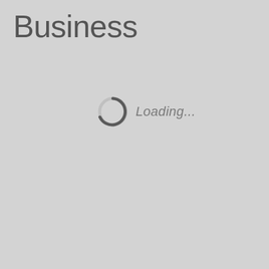Business
[Figure (other): A circular loading spinner (partially filled arc in dark gray on a light gray circle) with the italic text 'Loading...' to its right]